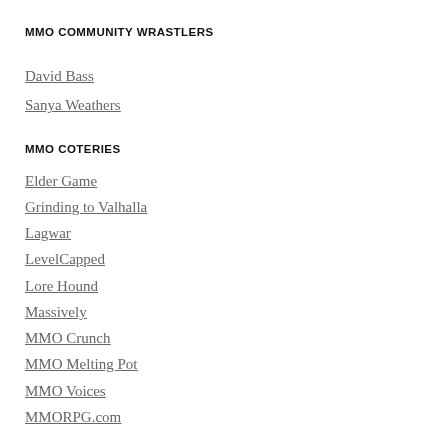MMO COMMUNITY WRASTLERS
David Bass
Sanya Weathers
MMO COTERIES
Elder Game
Grinding to Valhalla
Lagwar
LevelCapped
Lore Hound
Massively
MMO Crunch
MMO Melting Pot
MMO Voices
MMORPG.com